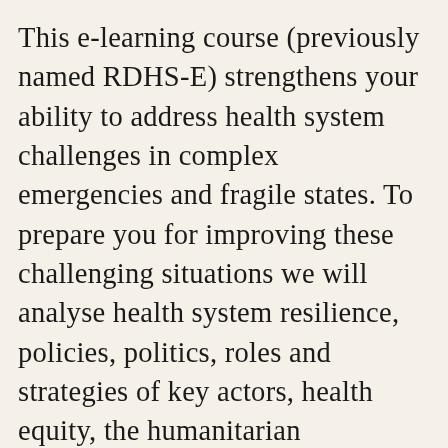This e-learning course (previously named RDHS-E) strengthens your ability to address health system challenges in complex emergencies and fragile states. To prepare you for improving these challenging situations we will analyse health system resilience, policies, politics, roles and strategies of key actors, health equity, the humanitarian development nexus and more. This will enable you to develop context specific strategies for strengthening different elements of disrupted health systems.